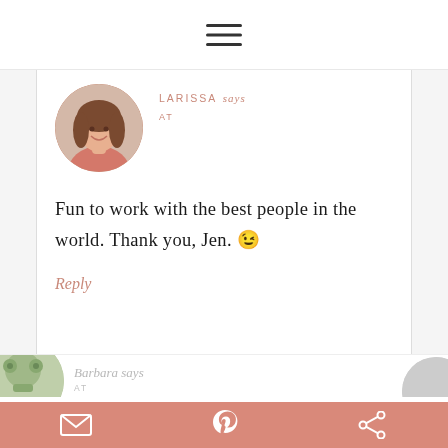[Figure (other): Hamburger menu icon (three horizontal lines)]
[Figure (photo): Circular avatar photo of Larissa, a woman with long brown hair wearing a pink top, smiling]
LARISSA says
AT
Fun to work with the best people in the world. Thank you, Jen. 😉
Reply
[Figure (illustration): Circular avatar with green illustrated character for Barbara]
Barbara says
AT
[Figure (illustration): Partially visible circle on right edge]
Email | Pinterest | Share social icons on salmon/coral background bar